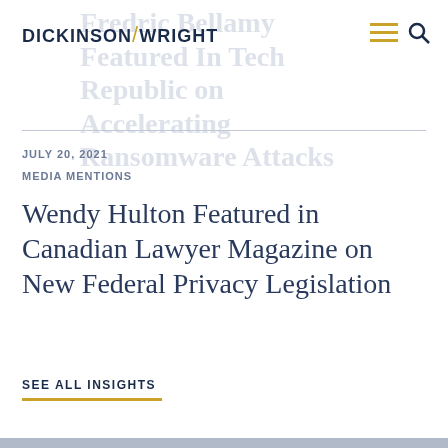Dickinson Wright
Fredric Bellamy Featured In Tech Republic on Accelerating Ransomware Attacks
JULY 20, 2021
MEDIA MENTIONS
Wendy Hulton Featured in Canadian Lawyer Magazine on New Federal Privacy Legislation
SEE ALL INSIGHTS